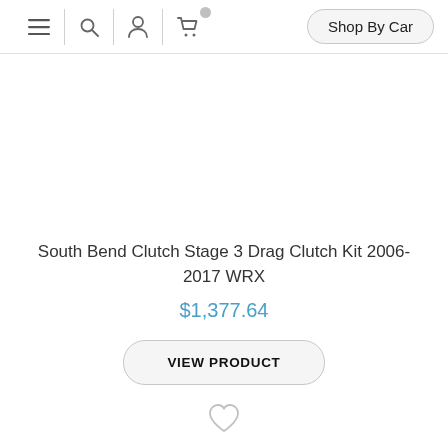Navigation bar with menu, search, account, cart icons and Shop By Car button
[Figure (other): Product image area (white/blank)]
South Bend Clutch Stage 3 Drag Clutch Kit 2006-2017 WRX
$1,377.64
VIEW PRODUCT